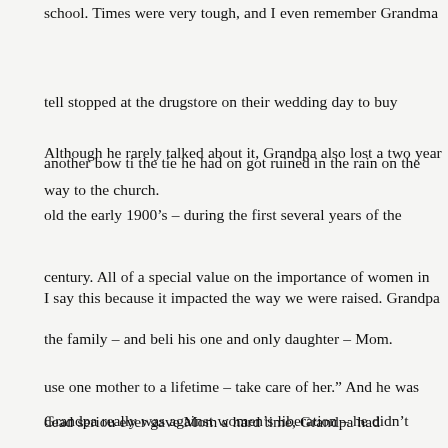school. Times were very tough, and I even remember Grandma telling me they stopped at the drugstore on their wedding day to buy another bow tie because the tie he had on got ruined in the rain on the way to the church.
Although he rarely talked about it, Grandpa also lost a two year old child in the early 1900’s – during the first several years of the century. All of this placed a special value on the importance of women in the family – and believed in his one and only daughter – Mom.
I say this because it impacted the way we were raised. Grandpa used to say “you get one mother to a lifetime – take care of her.” And he was dead serious. If any of us ever gave Mom a hard time, Grandpa had something to say about it. We were taught from the earliest days to respect both our parents – but especially our mother. I know this was a result of his missing the influence of his own mother during the early years, and beyond, of his life.
Grandpa really was against women’s liberation – he didn’t believe th... he brought to the surface. And Mom appreciated the...